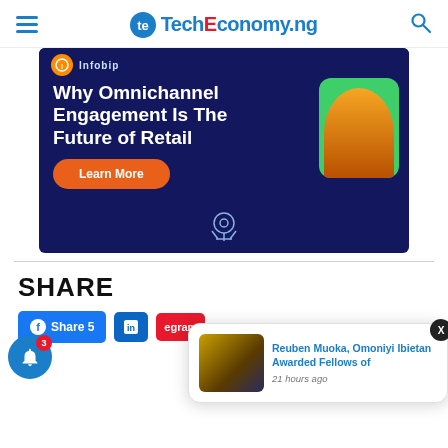TechEconomy.ng
[Figure (photo): Infobip advertisement banner with dark blue background. Text reads 'Why Omnichannel Engagement Is The Future of Retail' with a 'Learn More' orange button and a person in orange clothing on green background.]
SHARE
[Figure (screenshot): Share buttons row showing Facebook Share 5, LinkedIn, and Telegram buttons. A blue notification bell with badge showing 3. A popup card showing 'Reuben Muoka, Omoniyi Ibietan Awarded Fellows of' with '21 hours ago' timestamp and a close X button.]